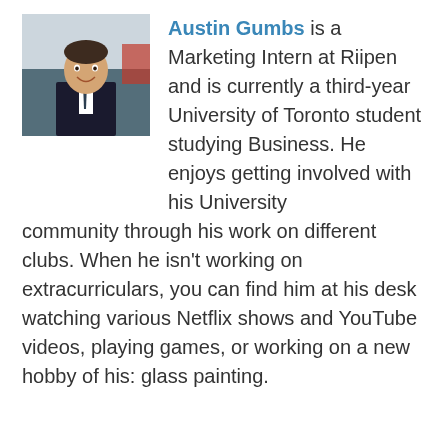[Figure (photo): Portrait photo of Austin Gumbs, a young man in a suit and tie, smiling, with a building interior visible in the background.]
Austin Gumbs is a Marketing Intern at Riipen and is currently a third-year University of Toronto student studying Business. He enjoys getting involved with his University community through his work on different clubs. When he isn't working on extracurriculars, you can find him at his desk watching various Netflix shows and YouTube videos, playing games, or working on a new hobby of his: glass painting.